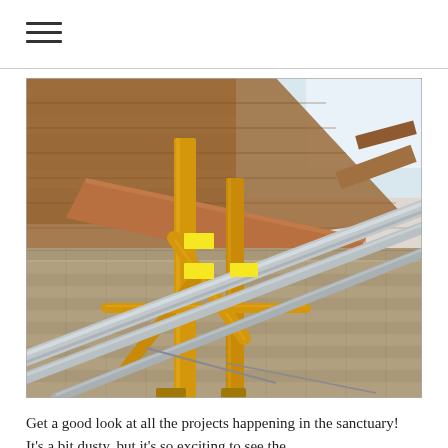[Figure (photo): Interior construction photo showing scaffolding with yellow metal frames and silver aluminum pipes/tubes positioned beneath a wooden ceiling with exposed rafters and brick walls visible in the background. Taken from a low angle looking up.]
Get a good look at all the projects happening in the sanctuary!  It's a bit dusty, but it's so exciting to see the